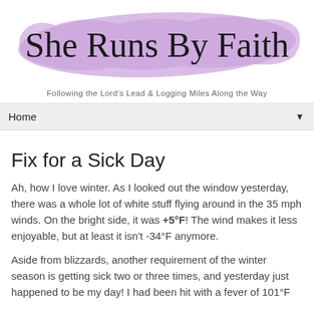[Figure (logo): She Runs By Faith blog logo with cursive text on a purple brush stroke background]
Following the Lord's Lead & Logging Miles Along the Way
Home ▼
Fix for a Sick Day
Ah, how I love winter. As I looked out the window yesterday, there was a whole lot of white stuff flying around in the 35 mph winds. On the bright side, it was +5°F! The wind makes it less enjoyable, but at least it isn't -34°F anymore.
Aside from blizzards, another requirement of the winter season is getting sick two or three times, and yesterday just happened to be my day! I had been hit with a fever of 101°F